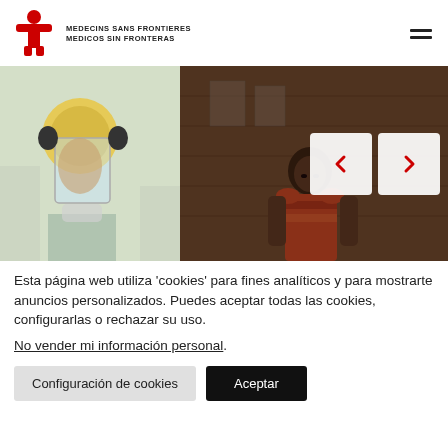[Figure (logo): MSF Médecins Sans Frontières / Médicos Sin Fronteras logo with red cross emblem and text]
[Figure (photo): Two-panel photo strip: left shows a person wearing a yellow protective face shield/helmet; right shows a dark scene with a child and wooden background]
Esta página web utiliza 'cookies' para fines analíticos y para mostrarte anuncios personalizados. Puedes aceptar todas las cookies, configurarlas o rechazar su uso.
No vender mi información personal.
Configuración de cookies
Aceptar